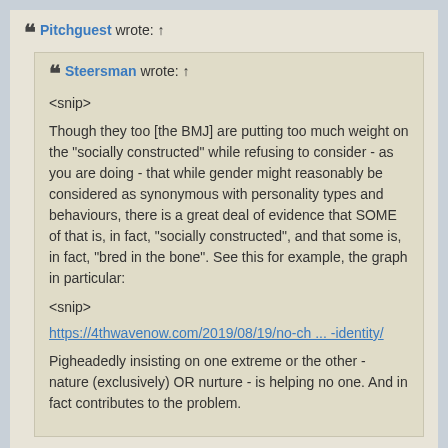Pitchguest wrote: ↑
Steersman wrote: ↑
<snip>
Though they too [the BMJ] are putting too much weight on the "socially constructed" while refusing to consider - as you are doing - that while gender might reasonably be considered as synonymous with personality types and behaviours, there is a great deal of evidence that SOME of that is, in fact, "socially constructed", and that some is, in fact, "bred in the bone". See this for example, the graph in particular:
<snip>
https://4thwavenow.com/2019/08/19/no-ch ... -identity/
Pigheadedly insisting on one extreme or the other - nature (exclusively) OR nurture - is helping no one. And in fact contributes to the problem.
Unwilling to consider arguments? Not giving any thought or credence?